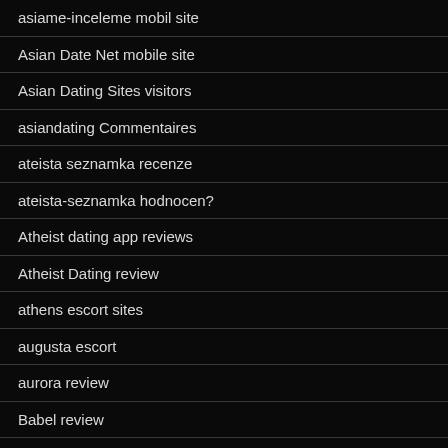asiame-inceleme mobil site
Asian Date Net mobile site
Asian Dating Sites visitors
asiandating Commentaires
ateista seznamka recenze
ateista-seznamka hodnocen?
Atheist dating app reviews
Atheist Dating review
athens escort sites
augusta escort
aurora review
Babel review
Babel visitors